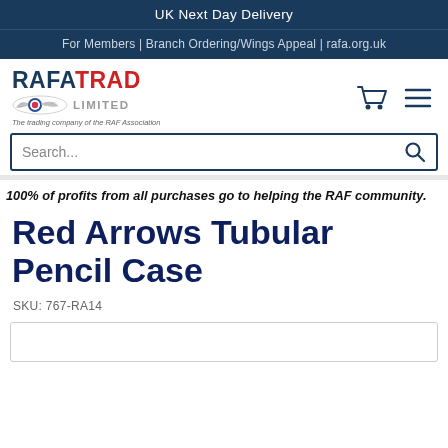UK Next Day Delivery
For Members | Branch Ordering/Wings Appeal | rafa.org.uk
[Figure (logo): RAFA TRAD LIMITED logo with RAF Association wings roundel emblem and tagline 'The trading company of the RAF Association']
[Figure (other): Shopping cart icon and hamburger menu icon]
Search...
100% of profits from all purchases go to helping the RAF community.
Red Arrows Tubular Pencil Case
SKU: 767-RA14